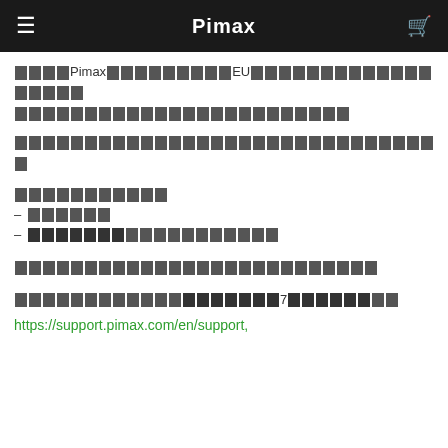Pimax
[CJK text block] Pimax [CJK] EU [CJK text continues on two lines]
[CJK text block - single line]
[CJK section header]
– [CJK text]
– [bold CJK text][CJK text]
[CJK text block]
[CJK text][bold CJK]7[bold CJK][CJK]
https://support.pimax.com/en/support,